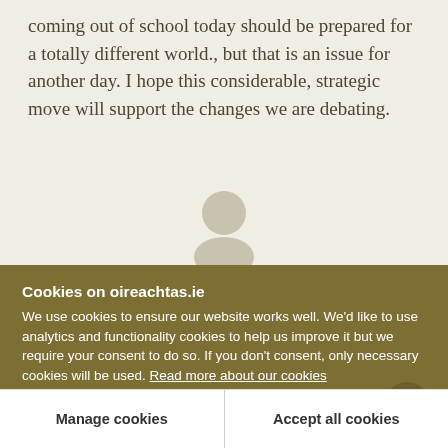coming out of school today should be prepared for a totally different world., but that is an issue for another day. I hope this considerable, strategic move will support the changes we are debating.
[Figure (illustration): Generic user avatar placeholder icon showing a circle (head) above a rounded shape (body/shoulders) in a muted beige/taupe color on a light background.]
Cookies on oireachtas.ie
We use cookies to ensure our website works well. We'd like to use analytics and functionality cookies to help us improve it but we require your consent to do so. If you don't consent, only necessary cookies will be used. Read more about our cookies
Manage cookies
Accept all cookies